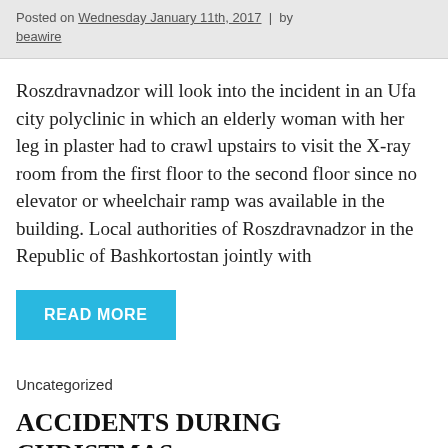Posted on Wednesday January 11th, 2017 | by beawire
Roszdravnadzor will look into the incident in an Ufa city polyclinic in which an elderly woman with her leg in plaster had to crawl upstairs to visit the X-ray room from the first floor to the second floor since no elevator or wheelchair ramp was available in the building. Local authorities of Roszdravnadzor in the Republic of Bashkortostan jointly with
READ MORE
Uncategorized
ACCIDENTS DURING CHRISTMAS